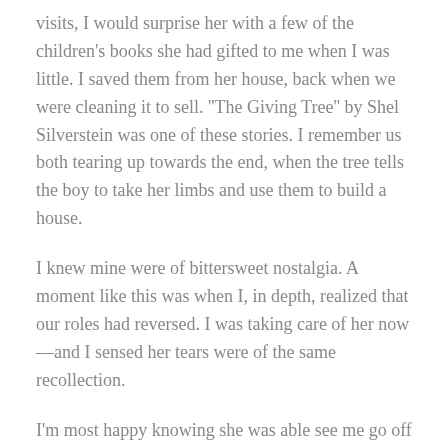visits, I would surprise her with a few of the children's books she had gifted to me when I was little. I saved them from her house, back when we were cleaning it to sell. ''The Giving Tree'' by Shel Silverstein was one of these stories. I remember us both tearing up towards the end, when the tree tells the boy to take her limbs and use them to build a house.
I knew mine were of bittersweet nostalgia. A moment like this was when I, in depth, realized that our roles had reversed. I was taking care of her now—and I sensed her tears were of the same recollection.
I'm most happy knowing she was able see me go off to college. She was there for it all, front row seat. I'll never forget the look on her face when I told her that I wanted to publish my own novels someday, and that I was studying for my Bachelor's in Professional Writing and Communications. Her mouth had opened in a large ''O''